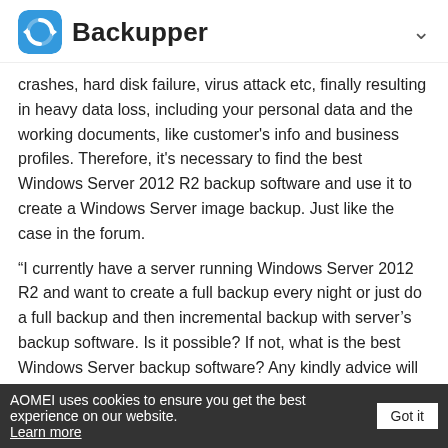Backupper
crashes, hard disk failure, virus attack etc, finally resulting in heavy data loss, including your personal data and the working documents, like customer's info and business profiles. Therefore, it's necessary to find the best Windows Server 2012 R2 backup software and use it to create a Windows Server image backup. Just like the case in the forum.
“I currently have a server running Windows Server 2012 R2 and want to create a full backup every night or just do a full backup and then incremental backup with server’s backup software. Is it possible? If not, what is the best Windows Server backup software? Any kindly advice will be appreciated.”
The Best Backup Software for Windows Server 2012 R2 - AOMEI
AOMEI uses cookies to ensure you get the best experience on our website. Learn more  Got it